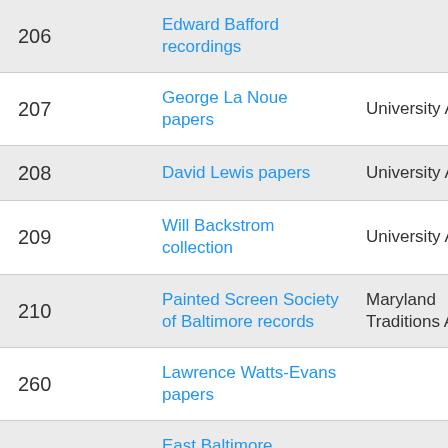| # | Name | Repository |
| --- | --- | --- |
| 206 | Edward Bafford recordings |  |
| 207 | George La Noue papers | University Archives |
| 208 | David Lewis papers | University Archives |
| 209 | Will Backstrom collection | University Archives |
| 210 | Painted Screen Society of Baltimore records | Maryland Traditions Archives |
| 260 | Lawrence Watts-Evans papers |  |
|  | East Baltimore... |  |